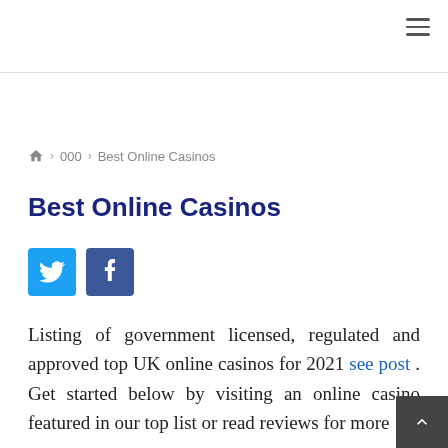🏠 > 000 > Best Online Casinos
Best Online Casinos
[Figure (other): Twitter and Facebook social share buttons]
Listing of government licensed, regulated and approved top UK online casinos for 2021 see post . Get started below by visiting an online casino featured in our top list or read reviews for more